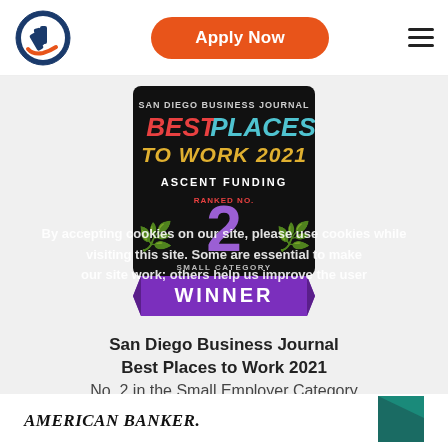[Figure (logo): Ascent Funding circular logo with rocket/flag motif in navy blue and orange]
Apply Now
[Figure (illustration): San Diego Business Journal Best Places to Work 2021 award badge. Ascent Funding Ranked No. 2 Small Category. WINNER banner at bottom.]
By accepting cookies on our site, please use cookies while visiting this site. Some are essential to make our site work; others help us improve the user
San Diego Business Journal
Best Places to Work 2021
No. 2 in the Small Employer Category
Ascent
[Figure (logo): American Banker logo text in serif italic bold uppercase]
[Figure (logo): Teal/dark green geometric shape logo (partial)]